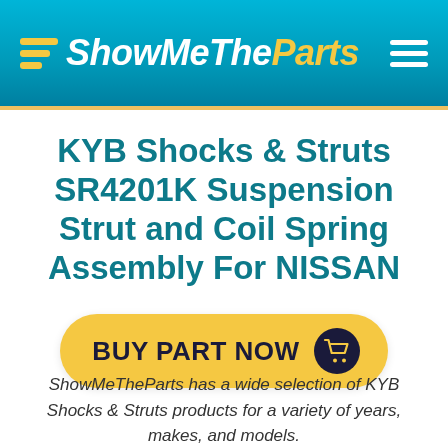ShowMeTheParts
KYB Shocks & Struts SR4201K Suspension Strut and Coil Spring Assembly For NISSAN
[Figure (other): BUY PART NOW button with shopping cart icon]
ShowMeTheParts has a wide selection of KYB Shocks & Struts products for a variety of years, makes, and models.